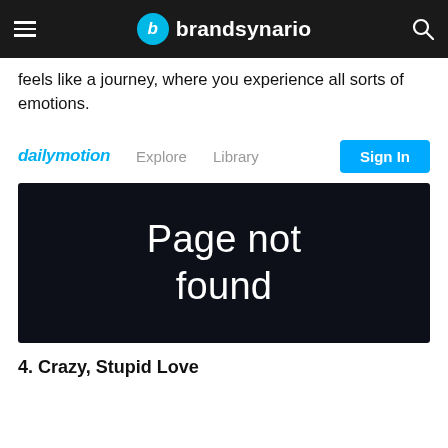brandsynario
feels like a journey, where you experience all sorts of emotions.
[Figure (screenshot): Dailymotion website navigation bar showing logo, Explore, Library links and Sign In button, followed by a dark 'Page not found' error screen]
4. Crazy, Stupid Love